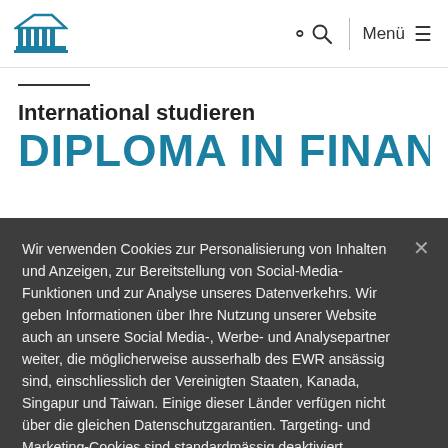Institution logo, search icon, Menü navigation
International studieren
DIPLOMA IN FINANCIAL
Wir verwenden Cookies zur Personalisierung von Inhalten und Anzeigen, zur Bereitstellung von Social-Media-Funktionen und zur Analyse unseres Datenverkehrs. Wir geben Informationen über Ihre Nutzung unserer Website auch an unsere Social Media-, Werbe- und Analysepartner weiter, die möglicherweise ausserhalb des EWR ansässig sind, einschliesslich der Vereinigten Staaten, Kanada, Singapur und Taiwan. Einige dieser Länder verfügen nicht über die gleichen Datenschutzgarantien. Targeting- und Marketing-Cookies sind standardmässig deaktiviert. Weitere Informationen Cookie-Richtlinie